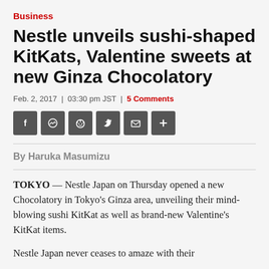Business
Nestle unveils sushi-shaped KitKats, Valentine sweets at new Ginza Chocolatory
Feb. 2, 2017 | 03:30 pm JST | 5 Comments
[Figure (other): Social media sharing buttons: Facebook, Messenger, Reddit, Twitter, Email, Plus]
By Haruka Masumizu
TOKYO — Nestle Japan on Thursday opened a new Chocolatory in Tokyo's Ginza area, unveiling their mind-blowing sushi KitKat as well as brand-new Valentine's KitKat items.
Nestle Japan never ceases to amaze with their